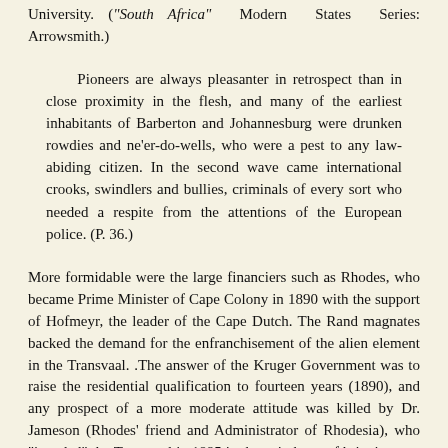University. ("South Africa" Modern States Series: Arrowsmith.)
Pioneers are always pleasanter in retrospect than in close proximity in the flesh, and many of the earliest inhabitants of Barberton and Johannesburg were drunken rowdies and ne'er-do-wells, who were a pest to any law-abiding citizen. In the second wave came international crooks, swindlers and bullies, criminals of every sort who needed a respite from the attentions of the European police. (P. 36.)
More formidable were the large financiers such as Rhodes, who became Prime Minister of Cape Colony in 1890 with the support of Hofmeyr, the leader of the Cape Dutch. The Rand magnates backed the demand for the enfranchisement of the alien element in the Transvaal. .The answer of the Kruger Government was to raise the residential qualification to fourteen years (1890), and any prospect of a more moderate attitude was killed by Dr. Jameson (Rhodes' friend and Administrator of Rhodesia), who "invaded" the Transvaal in 1895 in the vain hope of bringing to a head a much talked